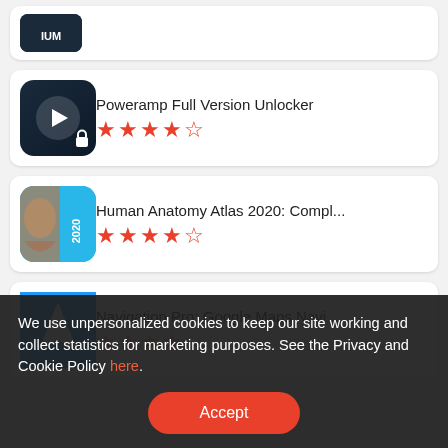[Figure (screenshot): Partial app listing card at top (cropped)]
Poweramp Full Version Unlocker
[Figure (other): 4.5 star rating for Poweramp Full Version Unlocker]
Human Anatomy Atlas 2020: Compl...
[Figure (other): 4.5 star rating for Human Anatomy Atlas 2020]
Navigation Pro: Google Maps Navi ...
We use unpersonalized cookies to keep our site working and collect statistics for marketing purposes. See the Privacy and Cookie Policy here.
Accept